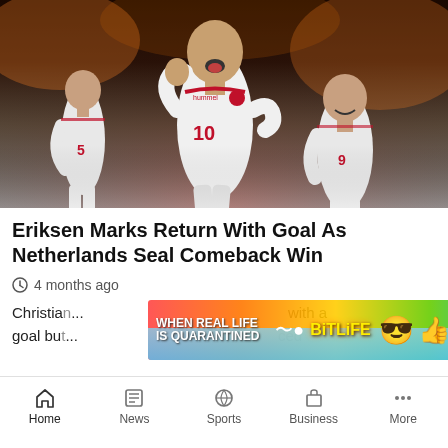[Figure (photo): Soccer players in white Denmark jerseys celebrating, number 10 in foreground with mouth open celebrating, dark background with orange-clad crowd]
Eriksen Marks Return With Goal As Netherlands Seal Comeback Win
4 months ago
[Figure (infographic): BitLife advertisement banner with rainbow gradient background reading WHEN REAL LIFE IS QUARANTINED with BitLife logo and emoji graphics, close button]
Christia... with a goal bu... ced
Home  News  Sports  Business  More